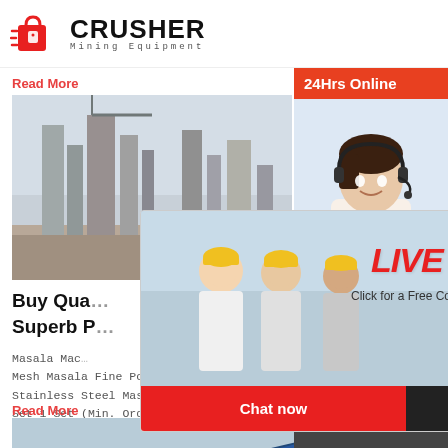CRUSHER Mining Equipment
Read More
[Figure (photo): Industrial cement plant or factory with tall silos and cranes against a hazy sky]
Buy Qua... Superb P...
Masala Mac... Mesh Masala Fine Powder Hammer Grinding Ma... Stainless Steel Masala Grinder Mill $1,870.00-... Set 1 Set (Min. Order)
Read More
[Figure (photo): Industrial mining or crushing equipment - large blue machinery]
[Figure (screenshot): Live chat popup overlay with construction workers in background, LIVE CHAT heading in red, Chat now and Chat later buttons]
[Figure (photo): 24Hrs Online sidebar with female customer service agent wearing headset]